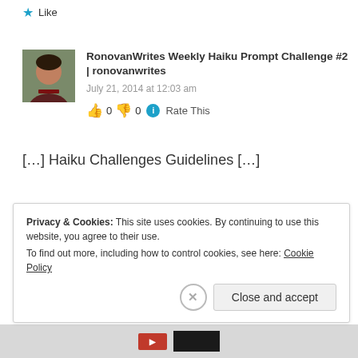Like
RonovanWrites Weekly Haiku Prompt Challenge #2 | ronovanwrites
July 21, 2014 at 12:03 am
👍 0 👎 0 ℹ Rate This
[…] Haiku Challenges Guidelines […]
Like
Privacy & Cookies: This site uses cookies. By continuing to use this website, you agree to their use. To find out more, including how to control cookies, see here: Cookie Policy
Close and accept